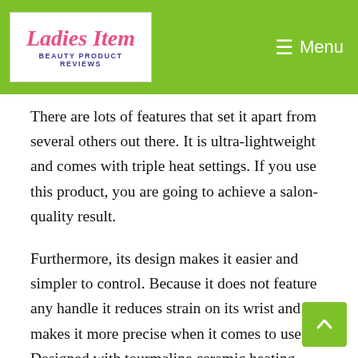Ladies Item — Beauty Product Reviews | Menu
There are lots of features that set it apart from several others out there. It is ultra-lightweight and comes with triple heat settings. If you use this product, you are going to achieve a salon-quality result.
Furthermore, its design makes it easier and simpler to control. Because it does not feature any handle it reduces strain on its wrist and makes it more precise when it comes to use. Designed with tourmaline ceramic heating materials, it facilitates drying and distributes hair evenly. It can also release maximum